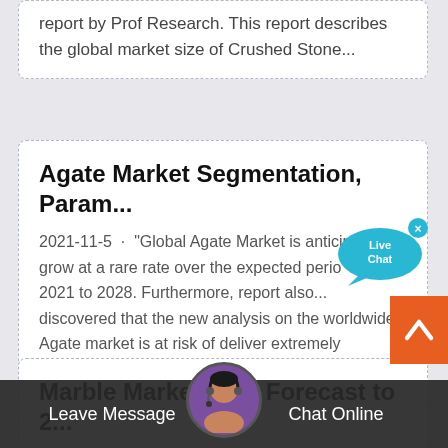report by Prof Research. This report describes the global market size of Crushed Stone...
Agate Market Segmentation, Param...
2021-11-5 · "Global Agate Market is anticipated to grow at a rare rate over the expected period from 2021 to 2028. Furthermore, report also... discovered that the new analysis on the worldwide Agate market is at risk of deliver extremely qualitative further as quantitative scrutiny for the
[Figure (illustration): Live Chat speech bubble icon with teal color and 'Live Chat' text, with an X close button]
Marble Market Gl...l Forecast to 2...
[ 283 Pages Report]... the marble market is estimated at USD 13 billion and is projected to
[Figure (photo): Customer service representative avatar photo in circular frame]
[Figure (illustration): Orange scroll-to-top button with upward chevron arrow]
Leave Message     Chat Online